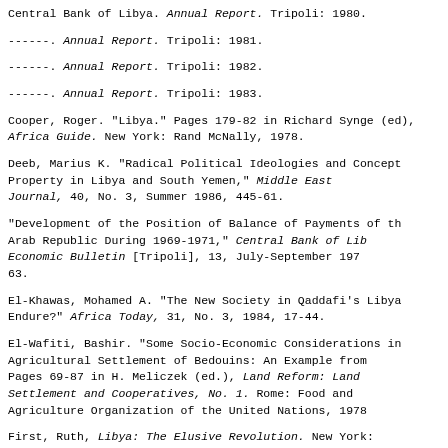Central Bank of Libya. Annual Report. Tripoli: 1980.
------. Annual Report. Tripoli: 1981.
------. Annual Report. Tripoli: 1982.
------. Annual Report. Tripoli: 1983.
Cooper, Roger. "Libya." Pages 179-82 in Richard Synge (ed.), Africa Guide. New York: Rand McNally, 1978.
Deeb, Marius K. "Radical Political Ideologies and Concepts of Property in Libya and South Yemen," Middle East Journal, 40, No. 3, Summer 1986, 445-61.
"Development of the Position of Balance of Payments of the Arab Republic During 1969-1971," Central Bank of Libya Economic Bulletin [Tripoli], 13, July-September 1973, 63.
El-Khawas, Mohamed A. "The New Society in Qaddafi's Libya: Can It Endure?" Africa Today, 31, No. 3, 1984, 17-44.
El-Wafiti, Bashir. "Some Socio-Economic Considerations in the Agricultural Settlement of Bedouins: An Example from Libya." Pages 69-87 in H. Meliczek (ed.), Land Reform: Land Settlement and Cooperatives, No. 1. Rome: Food and Agriculture Organization of the United Nations, 1978.
First, Ruth, Libya: The Elusive Revolution. New York: Africana Publishing, 1975.